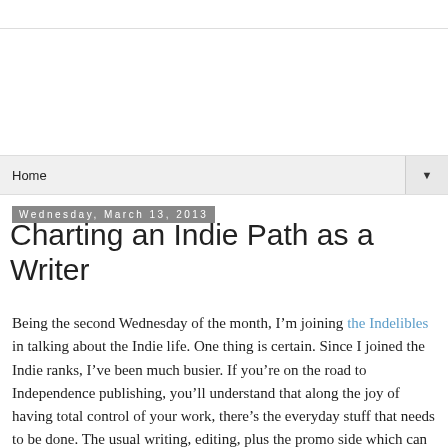Home
Wednesday, March 13, 2013
Charting an Indie Path as a Writer
Being the second Wednesday of the month, I’m joining the Indelibles in talking about the Indie life. One thing is certain. Since I joined the Indie ranks, I’ve been much busier. If you’re on the road to Independence publishing, you’ll understand that along the joy of having total control of your work, there’s the everyday stuff that needs to be done. The usual writing, editing, plus the promo side which can take a HUGE chunk of time.